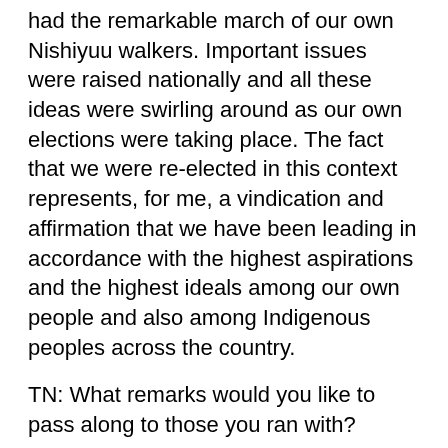had the remarkable march of our own Nishiyuu walkers. Important issues were raised nationally and all these ideas were swirling around as our own elections were taking place. The fact that we were re-elected in this context represents, for me, a vindication and affirmation that we have been leading in accordance with the highest aspirations and the highest ideals among our own people and also among Indigenous peoples across the country.
TN: What remarks would you like to pass along to those you ran with?
MCC: Very often, over the course of the election campaign, I said that to achieve the goal of a strong Indigenous Nation we will require all of us working together. We will require all of us striving to be the best